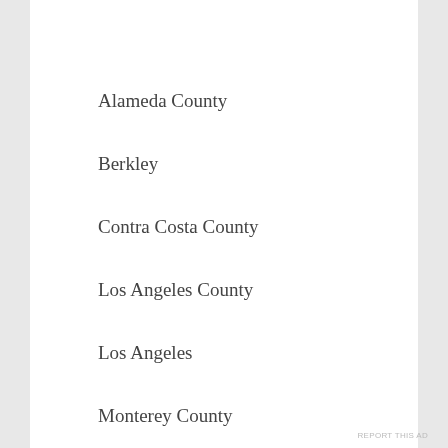Alameda County
Berkley
Contra Costa County
Los Angeles County
Los Angeles
Monterey County
Napa County
Oakland
Riverside County
Sacramento County
San Bernardino County
San Diego County
Advertisements